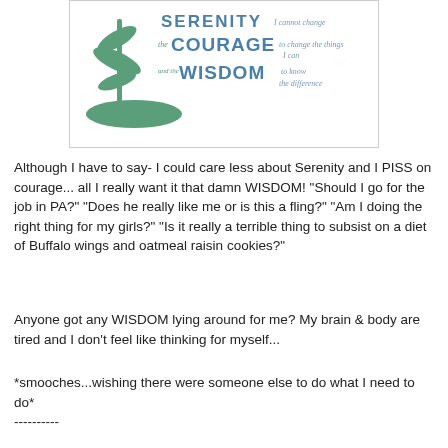[Figure (illustration): Serenity Prayer graphic with bamboo plant illustration. Text reads: SERENITY I cannot change, the COURAGE to change the things I can, and the WISDOM to know the difference.]
Although I have to say- I could care less about Serenity and I PISS on courage... all I really want it that damn WISDOM! "Should I go for the job in PA?" "Does he really like me or is this a fling?" "Am I doing the right thing for my girls?" "Is it really a terrible thing to subsist on a diet of Buffalo wings and oatmeal raisin cookies?"
Anyone got any WISDOM lying around for me? My brain & body are tired and I don't feel like thinking for myself...
*smooches...wishing there were someone else to do what I need to do*
----------